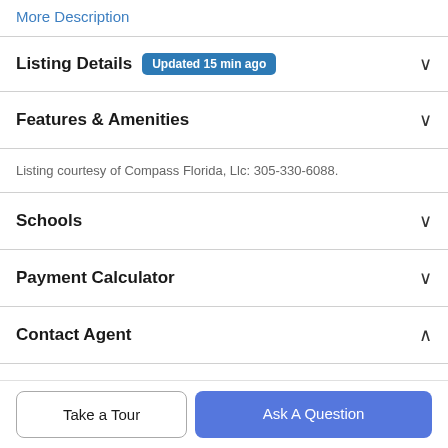More Description
Listing Details  Updated 15 min ago
Features & Amenities
Listing courtesy of Compass Florida, Llc: 305-330-6088.
Schools
Payment Calculator
Contact Agent
Take a Tour
Ask A Question